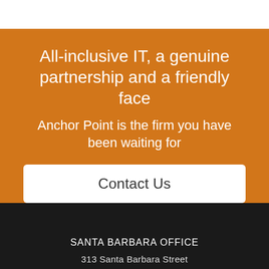All-inclusive IT, a genuine partnership and a friendly face
Anchor Point is the firm you have been waiting for
Contact Us
SANTA BARBARA OFFICE
313 Santa Barbara Street